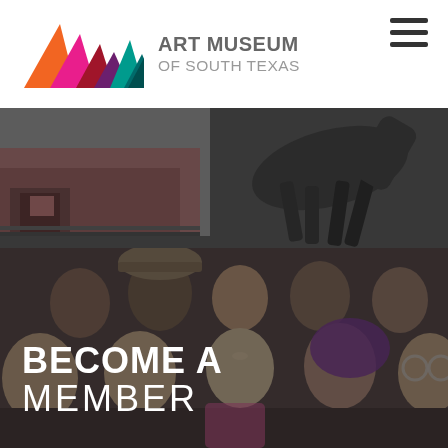[Figure (logo): Art Museum of South Texas logo with colorful triangular mountain shapes in orange, magenta, red, dark red, purple, teal, and dark teal]
ART MUSEUM OF SOUTH TEXAS
[Figure (photo): Upper hero image showing museum building exterior on the left and a bronze horse sculpture on the right, with a dark overlay]
[Figure (photo): Lower hero image showing a group of people in costume at a museum event, smiling at the camera, with a dark overlay]
BECOME A MEMBER